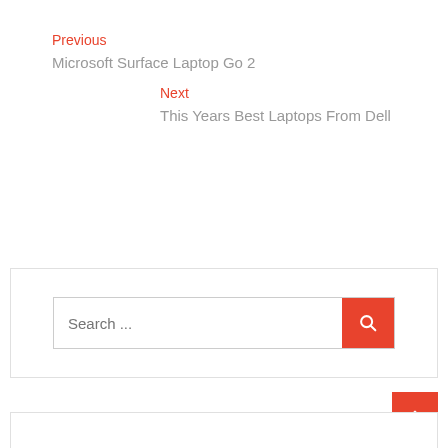Previous
Microsoft Surface Laptop Go 2
Next
This Years Best Laptops From Dell